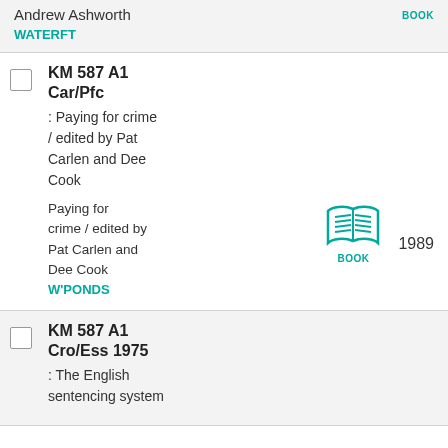Andrew Ashworth
BOOK
WATERFT
KM 587 A1 Car/Pfc
: Paying for crime / edited by Pat Carlen and Dee Cook
Paying for crime / edited by Pat Carlen and Dee Cook
BOOK
1989
W'PONDS
KM 587 A1 Cro/Ess 1975
: The English sentencing system